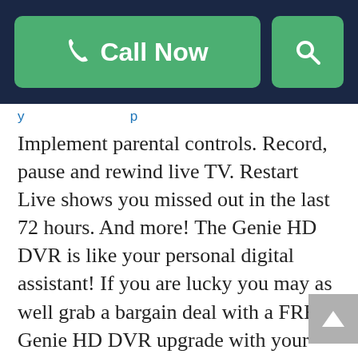Call Now [search]
Implement parental controls. Record, pause and rewind live TV. Restart Live shows you missed out in the last 72 hours. And more! The Genie HD DVR is like your personal digital assistant! If you are lucky you may as well grab a bargain deal with a FREE Genie HD DVR upgrade with your DIRECTV plan.
DIRECTV App
The DIRECTV app is a TV in your palm. It's your data-free TV. Wherever you catch the signal you can tune into your favorite show without